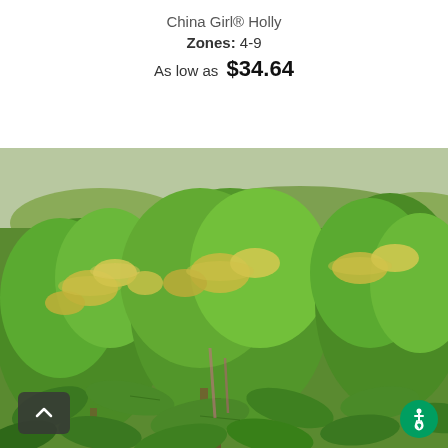China Girl® Holly
Zones: 4-9
As low as  $34.64
[Figure (photo): Close-up photograph of China Girl Holly plant with bright green leaves and yellowish flower clusters, taken outdoors in a nursery field setting.]